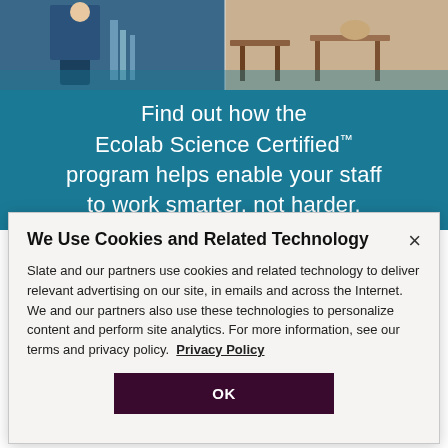[Figure (photo): Background image showing cleaning staff in blue uniform on left side and furniture/tables on right side, with teal/blue overlay]
Find out how the Ecolab Science Certified™ program helps enable your staff to work smarter, not harder.
We Use Cookies and Related Technology
Slate and our partners use cookies and related technology to deliver relevant advertising on our site, in emails and across the Internet. We and our partners also use these technologies to personalize content and perform site analytics. For more information, see our terms and privacy policy. Privacy Policy
OK